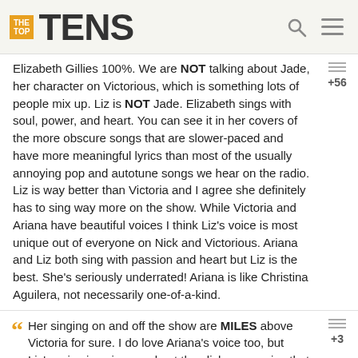THE TOP TENS
Elizabeth Gillies 100%. We are NOT talking about Jade, her character on Victorious, which is something lots of people mix up. Liz is NOT Jade. Elizabeth sings with soul, power, and heart. You can see it in her covers of the more obscure songs that are slower-paced and have more meaningful lyrics than most of the usually annoying pop and autotune songs we hear on the radio. Liz is way better than Victoria and I agree she definitely has to sing way more on the show. While Victoria and Ariana have beautiful voices I think Liz's voice is most unique out of everyone on Nick and Victorious. Ariana and Liz both sing with passion and heart but Liz is the best. She's seriously underrated! Ariana is like Christina Aguilera, not necessarily one-of-a-kind.
Her singing on and off the show are MILES above Victoria for sure. I do love Ariana's voice too, but Liz's voice is unique and not the cliche pop voice that Victoria has. I think one of the most annoying things about Victorious is how much more Victoria gets to